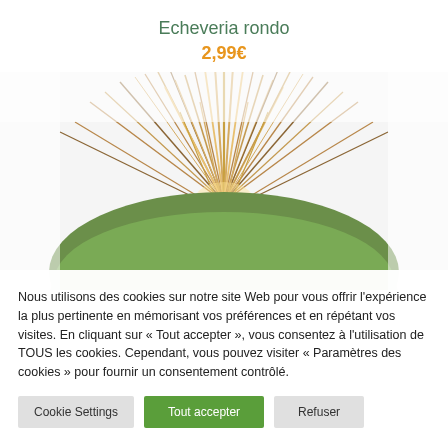Echeveria rondo
2,99€
[Figure (photo): Close-up photo of a cactus or succulent (Echeveria rondo) showing spiny top with brown and golden spines against a white background.]
Nous utilisons des cookies sur notre site Web pour vous offrir l'expérience la plus pertinente en mémorisant vos préférences et en répétant vos visites. En cliquant sur « Tout accepter », vous consentez à l'utilisation de TOUS les cookies. Cependant, vous pouvez visiter « Paramètres des cookies » pour fournir un consentement contrôlé.
Cookie Settings | Tout accepter | Refuser